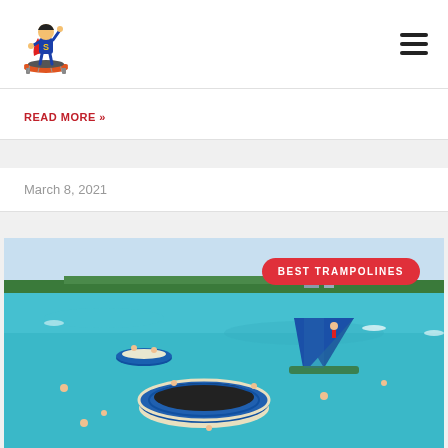[Figure (logo): Superhero child on trampoline logo]
READ MORE »
March 8, 2021
[Figure (photo): Aerial view of water trampolines and inflatable slide in turquoise ocean water with people swimming and playing]
BEST TRAMPOLINES